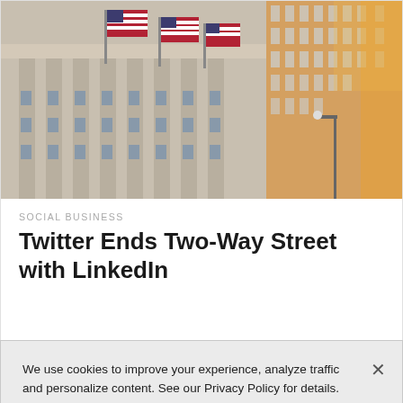[Figure (photo): Photograph of Wall Street or financial district buildings with American flags hanging from a neoclassical stone facade, sunlit glass office tower visible on the right.]
SOCIAL BUSINESS
Twitter Ends Two-Way Street with LinkedIn
We use cookies to improve your experience, analyze traffic and personalize content. See our Privacy Policy for details. Learn More
Accept
Deny